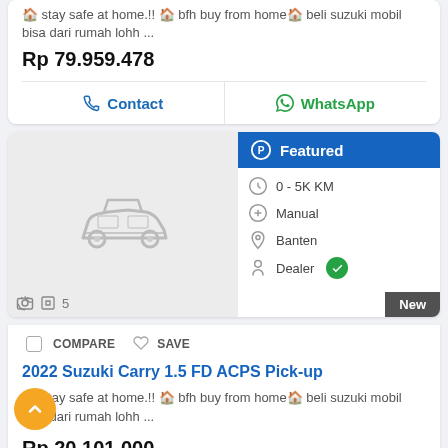🏠 stay safe at home.!! 🏠 bfh buy from home🏠 beli suzuki mobil bisa dari rumah lohh ...
Rp 79.959.478
Contact
WhatsApp
[Figure (screenshot): Car listing card with placeholder car image, Featured badge in blue, specs: 0-5K KM, Manual, Banten, Dealer with green verified badge, New label]
COMPARE  SAVE
2022 Suzuki Carry 1.5 FD ACPS Pick-up
🏠 stay safe at home.!! 🏠 bfh buy from home🏠 beli suzuki mobil bisa dari rumah lohh ...
Rp 20.101.000
Contact
WhatsApp